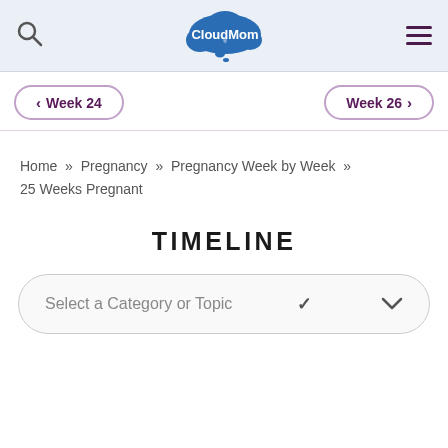CloudMom
‹ Week 24    Week 26 ›
Home » Pregnancy » Pregnancy Week by Week » 25 Weeks Pregnant
TIMELINE
Select a Category or Topic